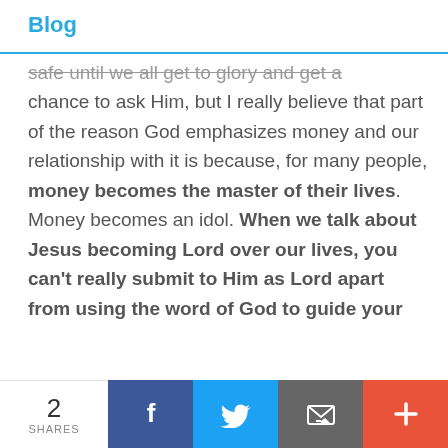Blog
safe until we all get to glory and get a chance to ask Him, but I really believe that part of the reason God emphasizes money and our relationship with it is because, for many people, money becomes the master of their lives. Money becomes an idol. When we talk about Jesus becoming Lord over our lives, you can't really submit to Him as Lord apart from using the word of God to guide your
2 SHARES | Facebook | Twitter | Email | More